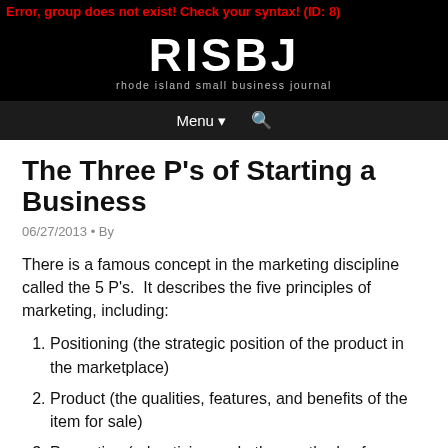Error, group does not exist! Check your syntax! (ID: 8)
[Figure (logo): RISBJ – Rhode Island Small Business Journal logo in white on black background]
The Three P's of Starting a Business
06/27/2013 • By
There is a famous concept in the marketing discipline called the 5 P's.  It describes the five principles of marketing, including:
Positioning (the strategic position of the product in the marketplace)
Product (the qualities, features, and benefits of the item for sale)
Promotion (advertising and other methods of communicating to the marketplace)